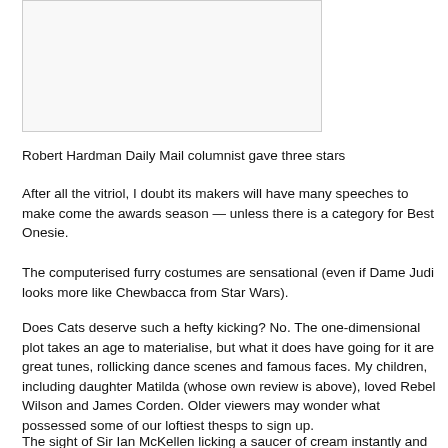[Figure (photo): Image placeholder with light gray background and border]
Robert Hardman Daily Mail columnist gave three stars
After all the vitriol, I doubt its makers will have many speeches to make come the awards season — unless there is a category for Best Onesie.
The computerised furry costumes are sensational (even if Dame Judi looks more like Chewbacca from Star Wars).
Does Cats deserve such a hefty kicking? No. The one-dimensional plot takes an age to materialise, but what it does have going for it are great tunes, rollicking dance scenes and famous faces. My children, including daughter Matilda (whose own review is above), loved Rebel Wilson and James Corden. Older viewers may wonder what possessed some of our loftiest thesps to sign up.
The sight of Sir Ian McKellen licking a saucer of cream instantly and indelibly conjured up a vision of ex-MP George